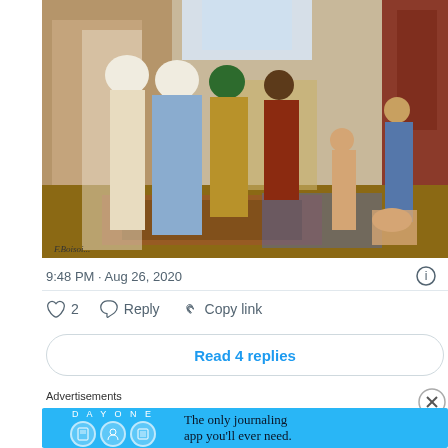[Figure (illustration): Orientalist oil painting depicting a slave market scene with robed men examining nude or semi-clothed women in a Middle Eastern bazaar setting, featuring ornate carpets and architectural elements.]
9:48 PM · Aug 26, 2020
2  Reply  Copy link
Read 4 replies
Advertisements
[Figure (screenshot): DAY ONE journaling app advertisement banner with cyan/blue background showing app icons and text: The only journaling app you'll ever need.]